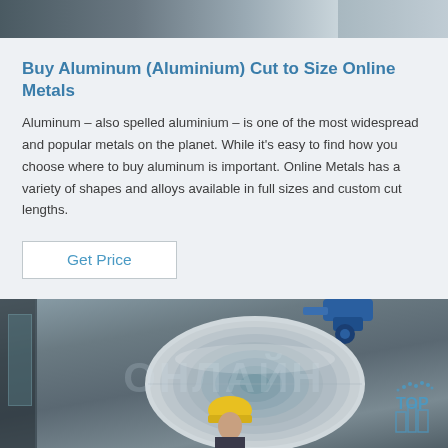[Figure (photo): Top portion of an industrial/warehouse scene showing aluminum coils or metal equipment, gray gradient background]
Buy Aluminum (Aluminium) Cut to Size Online Metals
Aluminum – also spelled aluminium – is one of the most widespread and popular metals on the planet. While it's easy to find how you choose where to buy aluminum is important. Online Metals has a variety of shapes and alloys available in full sizes and custom cut lengths.
Get Price
[Figure (photo): Industrial photo of a large aluminum coil roll in a warehouse/factory, with a worker wearing a yellow hard hat in the foreground. A blue mechanical arm/crane is visible at the top. Watermark text overlay visible. Top right corner shows a partial logo with 'TOP'.]